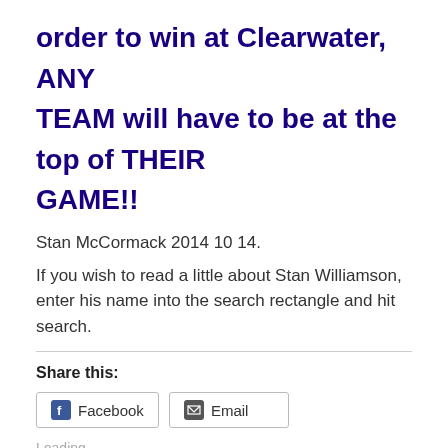order to win at Clearwater,  ANY TEAM  will have to be at the top of THEIR GAME!!
Stan McCormack 2014 10 14.
If you wish to read a little about Stan Williamson, enter his name into the search rectangle and hit search.
Share this:
[Figure (screenshot): Share buttons for Facebook and Email]
Loading...